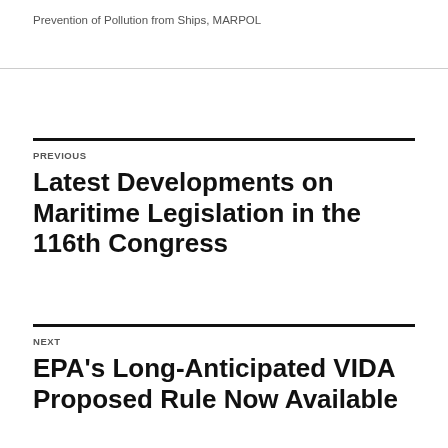Prevention of Pollution from Ships, MARPOL
PREVIOUS
Latest Developments on Maritime Legislation in the 116th Congress
NEXT
EPA's Long-Anticipated VIDA Proposed Rule Now Available